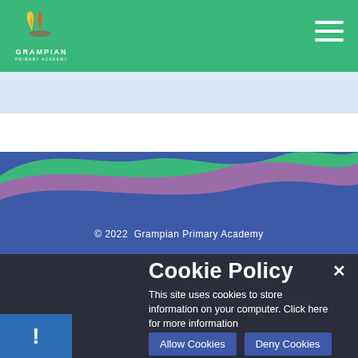[Figure (logo): Grampian Primary Academy logo with colorful hands/leaves icon and text GRAMPIAN in white]
[Figure (illustration): Decorative wave shapes in green, purple, and blue forming a landscape-like footer decoration]
© 2022  Grampian Primary Academy
Cookie Policy
This site uses cookies to store information on your computer. Click here for more information